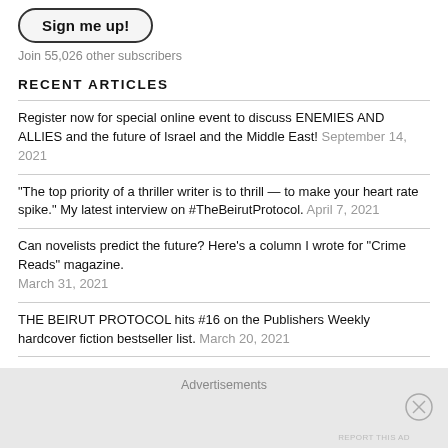[Figure (other): Sign me up! button with rounded pill border]
Join 55,026 other subscribers
RECENT ARTICLES
Register now for special online event to discuss ENEMIES AND ALLIES and the future of Israel and the Middle East! September 14, 2021
“The top priority of a thriller writer is to thrill — to make your heart rate spike.” My latest interview on #TheBeirutProtocol. April 7, 2021
Can novelists predict the future? Here’s a column I wrote for “Crime Reads” magazine. March 31, 2021
THE BEIRUT PROTOCOL hits #16 on the Publishers Weekly hardcover fiction bestseller list. March 20, 2021
THE BEIRUT PROTOCOL hits #39 on USA Today bestseller list. Thriller explores eruption of a Third Lebanon War even as tensions really heat up on Israel-Lebanon border. March 18, 2021
Advertisements